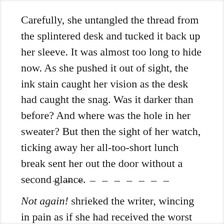Carefully, she untangled the thread from the splintered desk and tucked it back up her sleeve. It was almost too long to hide now. As she pushed it out of sight, the ink stain caught her vision as the desk had caught the snag. Was it darker than before? And where was the hole in her sweater? But then the sight of her watch, ticking away her all-too-short lunch break sent her out the door without a second glance.
– – – – – – – – – –
Not again! shrieked the writer, wincing in pain as if she had received the worst paper cut she had ever had- and, being a writer, she had